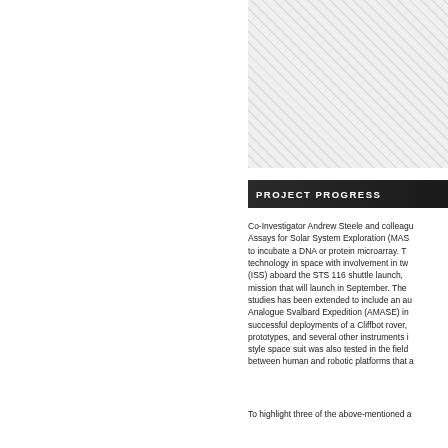[Figure (photo): Photograph or image related to the project, shown in the upper right portion of the page with a hatched/crosshatch pattern placeholder]
PROJECT PROGRESS
Co-Investigator Andrew Steele and colleagues developed Microfluidic Assays for Solar System Exploration (MASSE), a microfluidic device to incubate a DNA or protein microarray. The group has been testing technology in space with involvement in two International Space Station (ISS) aboard the STS 116 shuttle launch, and an upcoming shuttle mission that will launch in September. The capability for field studies has been extended to include an autonomous robot. Analogue Svalbard Expedition (AMASE) in 2007 included successful deployments of a Cliffbot rover, MASSE instrument prototypes, and several other instruments in the field. A planetary style space suit was also tested in the field to compare activities between human and robotic platforms that a
To highlight three of the above-mentioned a